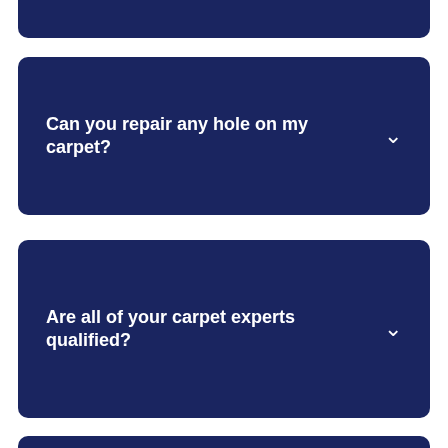(partial card top)
Can you repair any hole on my carpet?
Are all of your carpet experts qualified?
(partial card bottom)